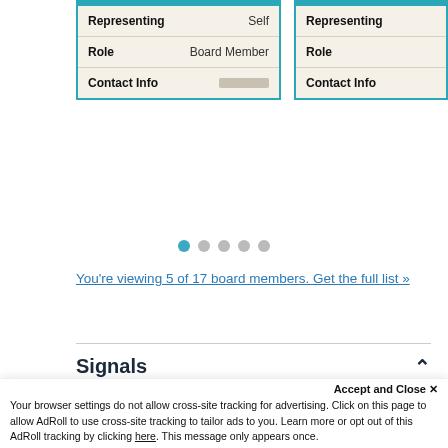| Field | Value |
| --- | --- |
| Representing | Self |
| Role | Board Member |
| Contact Info | [redacted] |
| Field | Value |
| --- | --- |
| Representing |  |
| Role |  |
| Contact Info |  |
[Figure (other): Pagination dots: 5 circles, first one highlighted in blue indicating current page 1 of 5]
You're viewing 5 of 17 board members. Get the full list »
Signals
[Figure (pie-chart): Size Multiple pie chart partially visible, showing colored segments (yellow, orange, dark blue/navy)]
Accept and Close ✕
Your browser settings do not allow cross-site tracking for advertising. Click on this page to allow AdRoll to use cross-site tracking to tailor ads to you. Learn more or opt out of this AdRoll tracking by clicking here. This message only appears once.